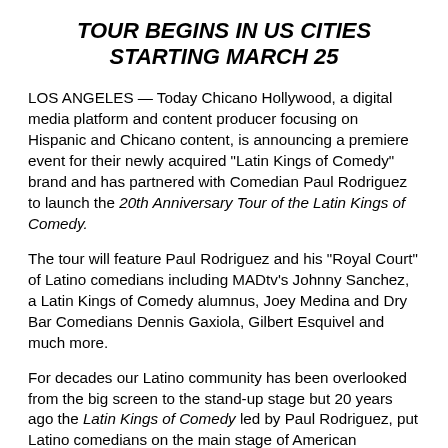TOUR BEGINS IN US CITIES STARTING MARCH 25
LOS ANGELES — Today Chicano Hollywood, a digital media platform and content producer focusing on Hispanic and Chicano content, is announcing a premiere event for their newly acquired “Latin Kings of Comedy” brand and has partnered with Comedian Paul Rodriguez to launch the 20th Anniversary Tour of the Latin Kings of Comedy.
The tour will feature Paul Rodriguez and his “Royal Court” of Latino comedians including MADtv’s Johnny Sanchez, a Latin Kings of Comedy alumnus, Joey Medina and Dry Bar Comedians Dennis Gaxiola, Gilbert Esquivel and much more.
For decades our Latino community has been overlooked from the big screen to the stand-up stage but 20 years ago the Latin Kings of Comedy led by Paul Rodriguez, put Latino comedians on the main stage of American audiences.” said